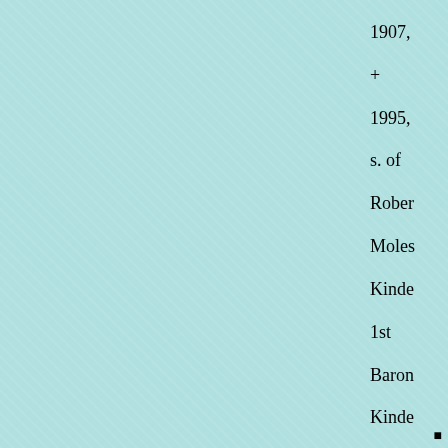1907, + 1995, s. of Robert Molesworth Kinde 1st Baron Kinde
▪